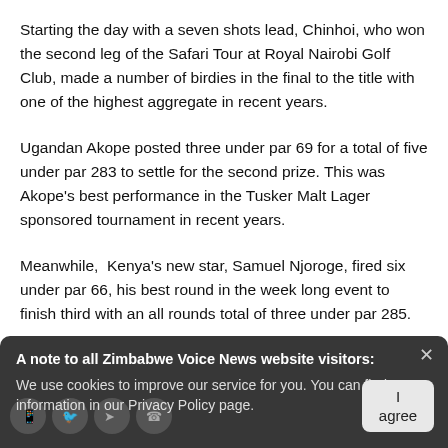Starting the day with a seven shots lead, Chinhoi, who won the second leg of the Safari Tour at Royal Nairobi Golf Club, made a number of birdies in the final to the title with one of the highest aggregate in recent years.
Ugandan Akope posted three under par 69 for a total of five under par 283 to settle for the second prize. This was Akope's best performance in the Tusker Malt Lager sponsored tournament in recent years.
Meanwhile,  Kenya's new star, Samuel Njoroge, fired six under par 66, his best round in the week long event to finish third with an all rounds total of three under par 285.
A note to all Zimbabwe Voice News website visitors: We use cookies to improve our service for you. You can find more information in our Privacy Policy page.